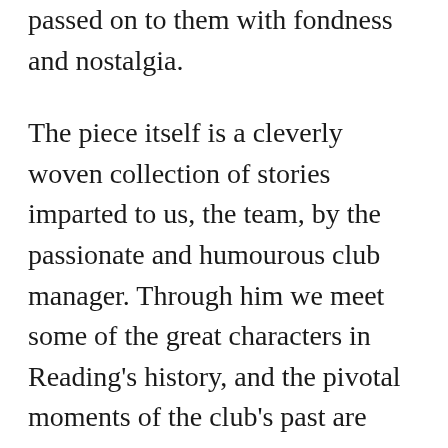passed on to them with fondness and nostalgia.
The piece itself is a cleverly woven collection of stories imparted to us, the team, by the passionate and humourous club manager. Through him we meet some of the great characters in Reading's history, and the pivotal moments of the club's past are played out before us as we are prepared for our match.  As we wander through the corridors of the player's entrance, to the home changing room, peek into the ice bath, and finally step out on the pitch, we delve into the world of the heroes of